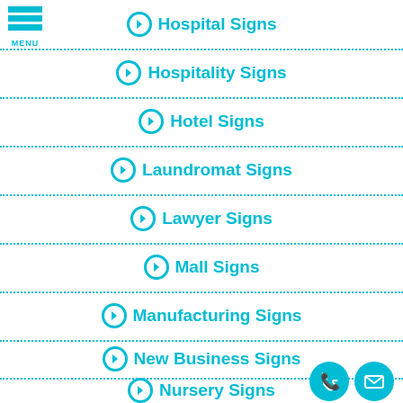Hospital Signs
Hospitality Signs
Hotel Signs
Laundromat Signs
Lawyer Signs
Mall Signs
Manufacturing Signs
New Business Signs
Nursery Signs